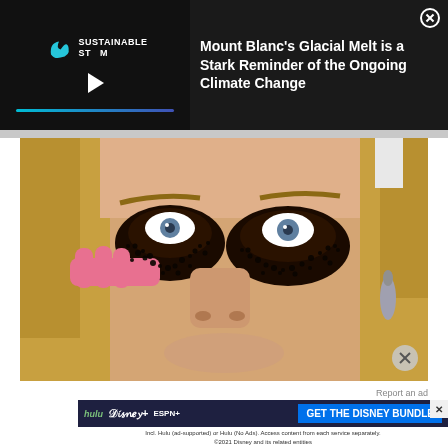[Figure (screenshot): Top ad banner: dark background with Sustainable Stream logo and video player on the left, and article headline 'Mount Blanc's Glacial Melt is a Stark Reminder of the Ongoing Climate Change' on the right with a close X button]
[Figure (photo): Close-up photo of a woman with dramatic wild mascara/black eye makeup smeared around her eyes, applying makeup with pink fingertips, wearing dangling earrings and a white headband]
Report an ad
[Figure (screenshot): Disney Bundle advertisement: dark background with Hulu, Disney+, and ESPN+ logos on the left, 'GET THE DISNEY BUNDLE' blue button on the right, fine print below: 'Incl. Hulu (ad-supported) or Hulu (No Ads). Access content from each service separately. ©2021 Disney and its related entities']